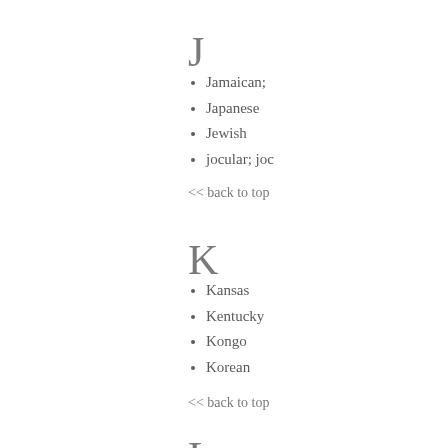J
Jamaican;
Japanese
Jewish
jocular; joc
<< back to top
K
Kansas
Kentucky
Kongo
Korean
<< back to top
L
lambdacism
Lapp